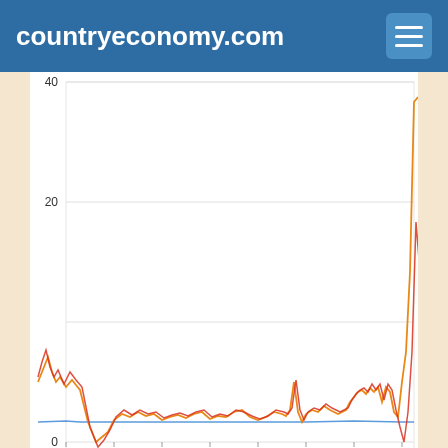countryeconomy.com
[Figure (line-chart): Multi-line chart showing producer price indices for multiple countries from 1981 to ~2023. Three lines: blue (near zero, flat), orange, and red, all showing volatile fluctuations between 0 and ~20 for most of the period, with a dramatic spike around 2021-2022 reaching above 40. X-axis labels: 1985, 1990, 1995, 2000, 2005, 2010, 2015, 2020. Y-axis labels: 0, 20, 40.]
‹ Austria - Producer Pric...
Brazil - Producer Prices ...
Spanish  Portuguese  French